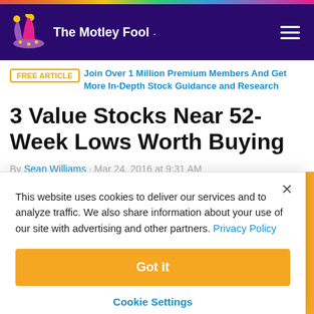The Motley Fool
FREE ARTICLE  Join Over 1 Million Premium Members And Get More In-Depth Stock Guidance and Research
3 Value Stocks Near 52-Week Lows Worth Buying
By Sean Williams · Mar 24, 2016 at 9:31 AM
This website uses cookies to deliver our services and to analyze traffic. We also share information about your use of our site with advertising and other partners. Privacy Policy
Got it
Cookie Settings